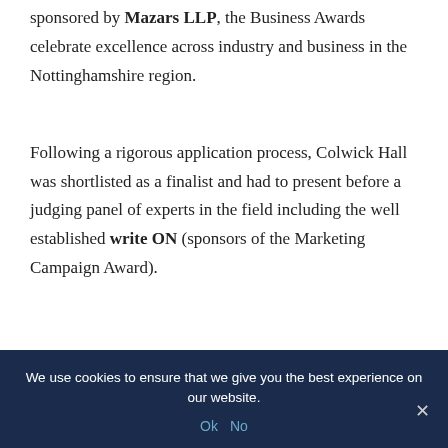sponsored by Mazars LLP, the Business Awards celebrate excellence across industry and business in the Nottinghamshire region.
Following a rigorous application process, Colwick Hall was shortlisted as a finalist and had to present before a judging panel of experts in the field including the well established write ON (sponsors of the Marketing Campaign Award).
We use cookies to ensure that we give you the best experience on our website.